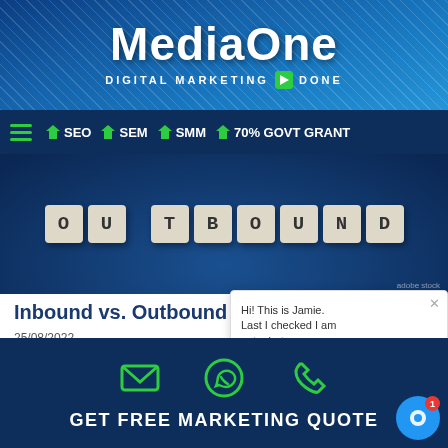MediaOne — DIGITAL MARKETING ▶ DONE
SEO  SEM  SMM  70% GOVT GRANT
[Figure (photo): Photo of wooden letter tiles spelling OUTBOUND on a dark blue background]
Inbound vs. Outbound Marketing: A Comparison
25/08/2022
Inbound vs. outbound — the long-lasting debate in marketing: which method is more effective in driving leads and sales? The truth, unfortunately, is that there
Read More »
[Figure (screenshot): Chat popup from Jamie: Hi! This is Jamie. Last I checked I am not a bot. MediaONE is the TOP digital — Write input bar with icons]
GET FREE MARKETING QUOTE